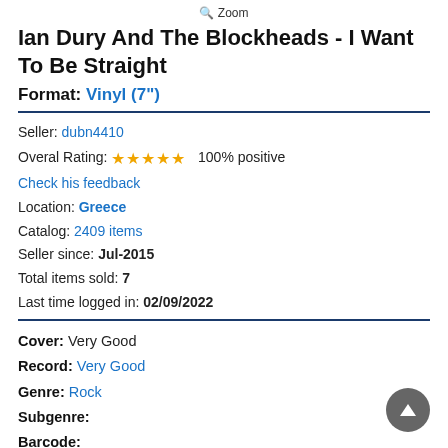🔍 Zoom
Ian Dury And The Blockheads - I Want To Be Straight
Format: Vinyl (7")
Seller: dubn4410
Overal Rating: ★★★★★ 100% positive
Check his feedback
Location: Greece
Catalog: 2409 items
Seller since: Jul-2015
Total items sold: 7
Last time logged in: 02/09/2022
Cover: Very Good
Record: Very Good
Genre: Rock
Subgenre:
Barcode:
Press Year: 1980
Press Country: UK